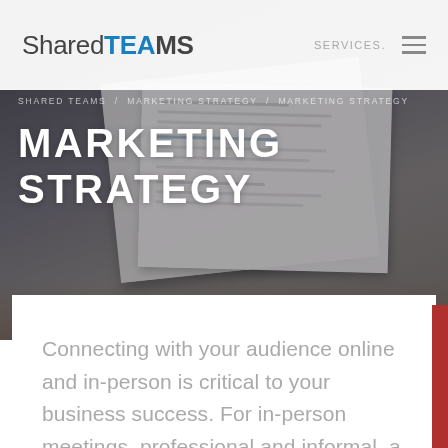SharedTEAMS | SERVICES
[Figure (photo): Dark overhead photo of documents/papers on a desk, used as a hero background image]
MARKETING STRATEGY
Connecting with your audience online and in-person is critical to your business success. For in-person meetings, professional and informal, a collateral package can help you inform